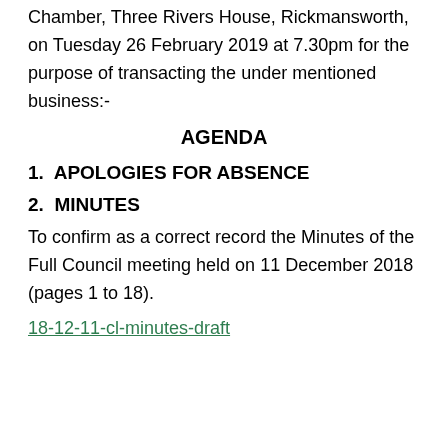Chamber, Three Rivers House, Rickmansworth, on Tuesday 26 February 2019 at 7.30pm for the purpose of transacting the under mentioned business:-
AGENDA
1.  APOLOGIES FOR ABSENCE
2.  MINUTES
To confirm as a correct record the Minutes of the Full Council meeting held on 11 December 2018 (pages 1 to 18).
18-12-11-cl-minutes-draft